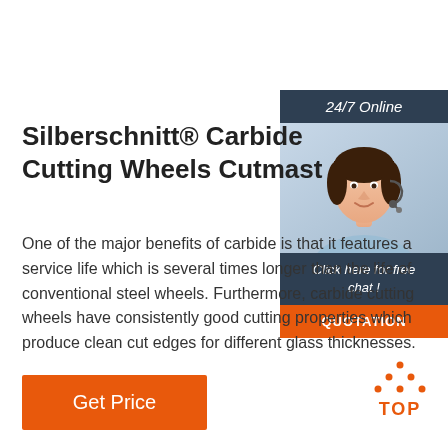Silberschnitt® Carbide Cutting Wheels Cutmast
One of the major benefits of carbide is that it features a service life which is several times longer than the life of conventional steel wheels. Furthermore, carbide cutting wheels have consistently good cutting properties which produce clean cut edges for different glass thicknesses.
[Figure (photo): Customer service agent woman wearing headset, smiling, with '24/7 Online' header, 'Click here for free chat!' text, and 'QUOTATION' orange button]
[Figure (infographic): Orange 'TOP' button with triangle/arrow icon pointing up]
Get Price